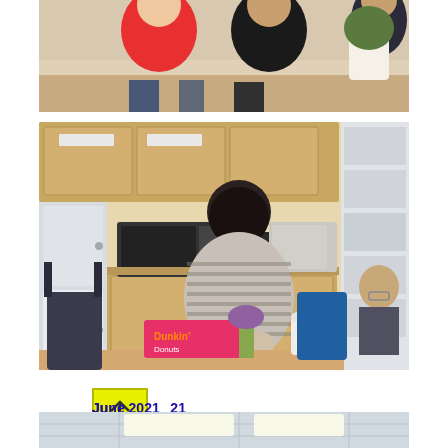[Figure (photo): Partial view of people sitting, one in a red t-shirt, another in black, with a plant visible at right edge]
[Figure (photo): Person with dark hair wearing a grey striped sweater, leaning over a table with a Dunkin Donuts box and flowers, in an office kitchen/break room setting with cabinets, microwave, refrigerator]
June 2021
Watching together the TSDC seminar series
[Figure (photo): Partial view of an interior room with ceiling lights visible]